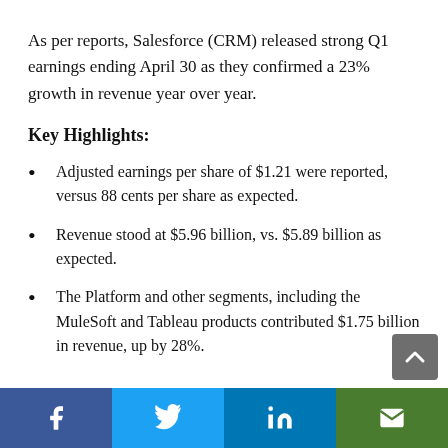As per reports, Salesforce (CRM) released strong Q1 earnings ending April 30 as they confirmed a 23% growth in revenue year over year.
Key Highlights:
Adjusted earnings per share of $1.21 were reported, versus 88 cents per share as expected.
Revenue stood at $5.96 billion, vs. $5.89 billion as expected.
The Platform and other segments, including the MuleSoft and Tableau products contributed $1.75 billion in revenue, up by 28%.
Social share bar: Facebook, Twitter, LinkedIn, Email